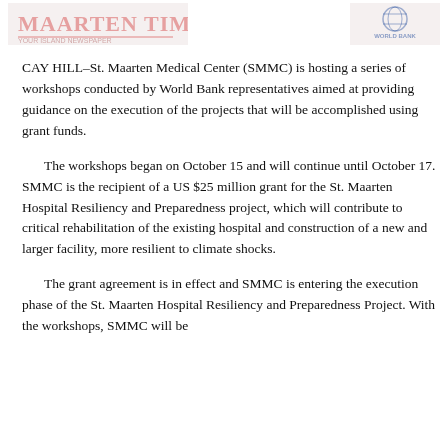[Figure (logo): Newspaper or publication logo banner on the left side of the header, faded red/pink text]
[Figure (logo): World Bank or affiliated organization logo on the right side of the header]
CAY HILL–St. Maarten Medical Center (SMMC) is hosting a series of workshops conducted by World Bank representatives aimed at providing guidance on the execution of the projects that will be accomplished using grant funds.
The workshops began on October 15 and will continue until October 17. SMMC is the recipient of a US $25 million grant for the St. Maarten Hospital Resiliency and Preparedness project, which will contribute to critical rehabilitation of the existing hospital and construction of a new and larger facility, more resilient to climate shocks.
The grant agreement is in effect and SMMC is entering the execution phase of the St. Maarten Hospital Resiliency and Preparedness Project. With the workshops, SMMC will be